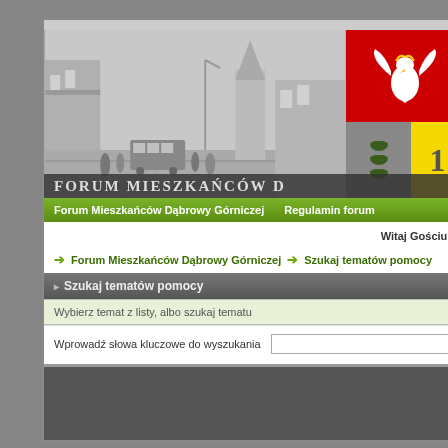[Figure (screenshot): Screenshot of Forum Mieszkańców Dąbrowy Górniczej website header with black and white historical city photo (tram, street, church) and Polish coat of arms (eagle on red, city emblem with green dots on grey and yellow background). Banner text reads FORUM MIESZKAŃCÓW at the bottom of the header image.]
Forum Mieszkańców Dąbrowy Górniczej   Regulamin forum
Witaj Gościu (
Forum Mieszkańców Dąbrowy Górniczej → Szukaj tematów pomocy
▸ Szukaj tematów pomocy
Wybierz temat z listy, albo szukaj tematu
Wprowadź słowa kluczowe do wyszukania